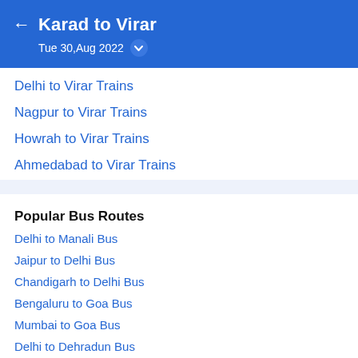Karad to Virar — Tue 30,Aug 2022
Delhi to Virar Trains
Nagpur to Virar Trains
Howrah to Virar Trains
Ahmedabad to Virar Trains
Popular Bus Routes
Delhi to Manali Bus
Jaipur to Delhi Bus
Chandigarh to Delhi Bus
Bengaluru to Goa Bus
Mumbai to Goa Bus
Delhi to Dehradun Bus